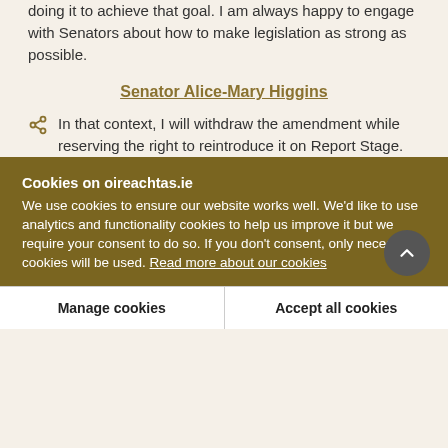doing it to achieve that goal. I am always happy to engage with Senators about how to make legislation as strong as possible.
Senator Alice-Mary Higgins
In that context, I will withdraw the amendment while reserving the right to reintroduce it on Report Stage.
Cookies on oireachtas.ie
We use cookies to ensure our website works well. We'd like to use analytics and functionality cookies to help us improve it but we require your consent to do so. If you don't consent, only necessary cookies will be used. Read more about our cookies
Manage cookies
Accept all cookies